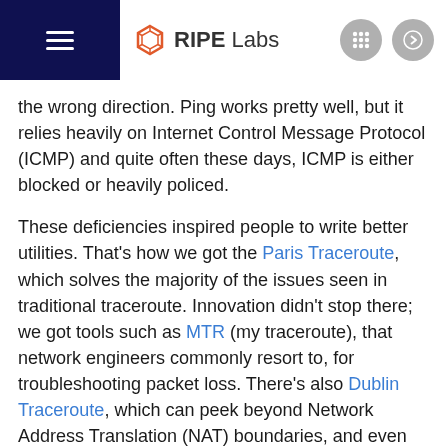RIPE Labs
the wrong direction. Ping works pretty well, but it relies heavily on Internet Control Message Protocol (ICMP) and quite often these days, ICMP is either blocked or heavily policed.
These deficiencies inspired people to write better utilities. That's how we got the Paris Traceroute, which solves the majority of the issues seen in traditional traceroute. Innovation didn't stop there; we got tools such as MTR (my traceroute), that network engineers commonly resort to, for troubleshooting packet loss. There's also Dublin Traceroute, which can peek beyond Network Address Translation (NAT) boundaries, and even complete suites of utilities such as NL-NOC Ping